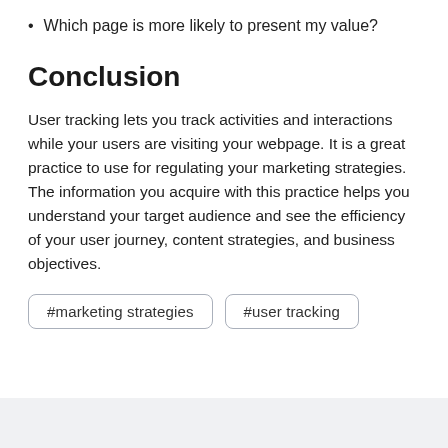Which page is more likely to present my value?
Conclusion
User tracking lets you track activities and interactions while your users are visiting your webpage. It is a great practice to use for regulating your marketing strategies. The information you acquire with this practice helps you understand your target audience and see the efficiency of your user journey, content strategies, and business objectives.
#marketing strategies  #user tracking